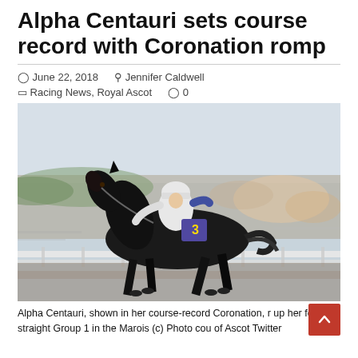Alpha Centauri sets course record with Coronation romp
June 22, 2018  Jennifer Caldwell  Racing News, Royal Ascot  0
[Figure (photo): Alpha Centauri racehorse galloping at full speed at Royal Ascot, jockey in white and blue silks, race number 3, crowd and white rail fencing in background, motion-blurred photo]
Alpha Centauri, shown in her course-record Coronation, n up her fourth straight Group 1 in the Marois (c) Photo cou of Ascot Twitter